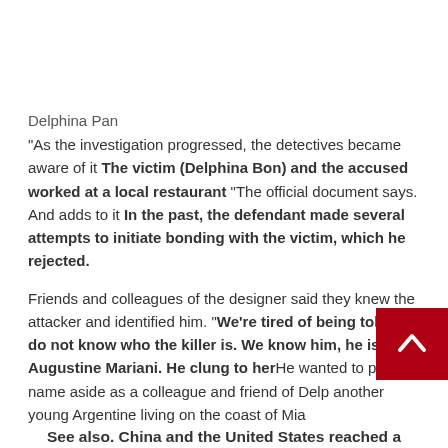Delphina Pan
“As the investigation progressed, the detectives became aware of it The victim (Delphina Bon) and the accused worked at a local restaurant “The official document says. And adds to it In the past, the defendant made several attempts to initiate bonding with the victim, which he rejected.
Friends and colleagues of the designer said they knew the attacker and identified him. “We’re tired of being told we do not know who the killer is. We know him, he is Augustine Mariani. He clung to herHe wanted to put his name aside as a colleague and friend of Delp another young Argentine living on the coast of Mia
See also. China and the United States reached a